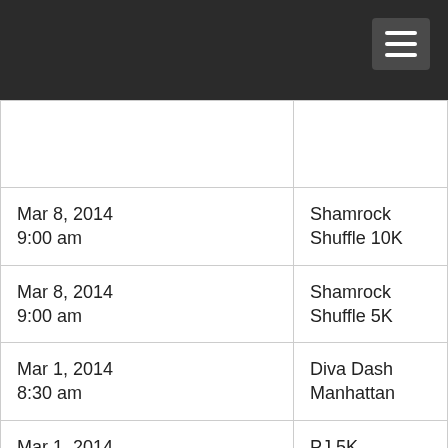| Date/Time | Event |
| --- | --- |
|  |  |
| Mar 8, 2014
9:00 am | Shamrock Shuffle 10K |
| Mar 8, 2014
9:00 am | Shamrock Shuffle 5K |
| Mar 1, 2014
8:30 am | Diva Dash Manhattan |
| Mar 1, 2014
9:00 am | PJ 5K Run/Walk |
| Feb 23, 2014
10:00 am | Steps for the Chest 5k |